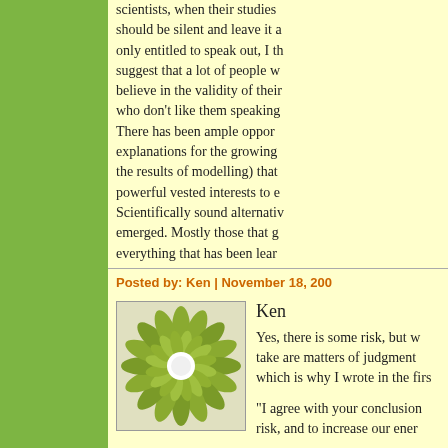scientists, when their studies should be silent and leave it a only entitled to speak out, I th suggest that a lot of people w believe in the validity of their who don't like them speaking There has been ample oppor explanations for the growing the results of modelling) that powerful vested interests to e Scientifically sound alternativ emerged. Mostly those that g everything that has been lear
Posted by: Ken | November 18, 200
Ken
[Figure (illustration): Green flower/sunflower icon with white center on light background, square with border]
Yes, there is some risk, but w take are matters of judgment which is why I wrote in the firs
"I agree with your conclusion risk, and to increase our ener